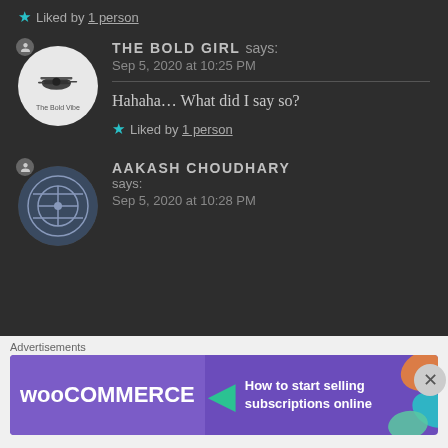★ Liked by 1 person
THE BOLD GIRL says:
Sep 5, 2020 at 10:25 PM
Hahaha… What did I say so?
★ Liked by 1 person
AAKASH CHOUDHARY says:
Sep 5, 2020 at 10:28 PM
[Figure (other): Advertisement banner: WooCommerce - How to start selling subscriptions online]